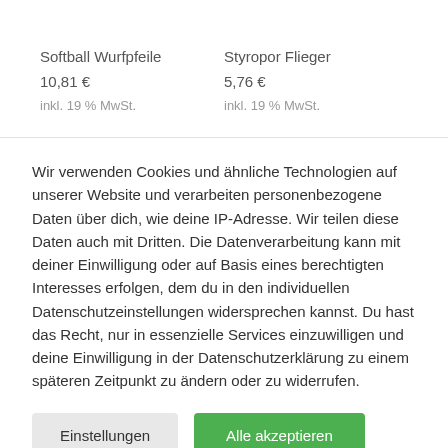Softball Wurfpfeile
10,81 €
inkl. 19 % MwSt.
Styropor Flieger
5,76 €
inkl. 19 % MwSt.
Wir verwenden Cookies und ähnliche Technologien auf unserer Website und verarbeiten personenbezogene Daten über dich, wie deine IP-Adresse. Wir teilen diese Daten auch mit Dritten. Die Datenverarbeitung kann mit deiner Einwilligung oder auf Basis eines berechtigten Interesses erfolgen, dem du in den individuellen Datenschutzeinstellungen widersprechen kannst. Du hast das Recht, nur in essenzielle Services einzuwilligen und deine Einwilligung in der Datenschutzerklärung zu einem späteren Zeitpunkt zu ändern oder zu widerrufen.
Einstellungen
Alle akzeptieren